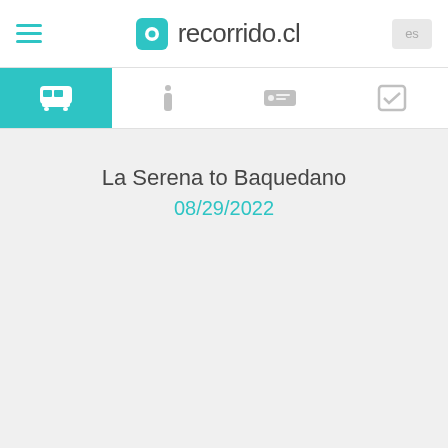recorrido.cl
La Serena to Baquedano
08/29/2022